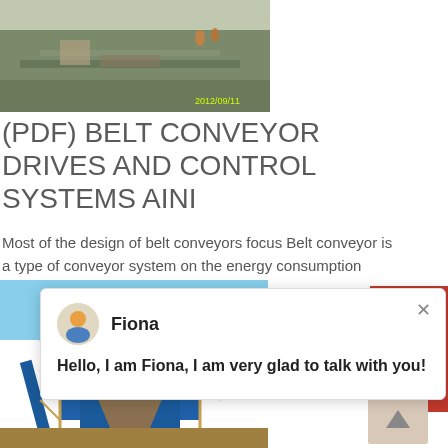[Figure (photo): Construction site with belt conveyor equipment on ground level, timestamp 2012/09/11]
(PDF) BELT CONVEYOR DRIVES AND CONTROL SYSTEMS AINI
Most of the design of belt conveyors focus Belt conveyor is a type of conveyor system on the energy consumption
[Figure (screenshot): Chat popup with avatar of Fiona, close button X, and message: Hello, I am Fiona, I am very glad to talk with you!]
[Figure (photo): Large industrial belt conveyor structure with blue metal framework and scaffolding, photographed from below against a sky background]